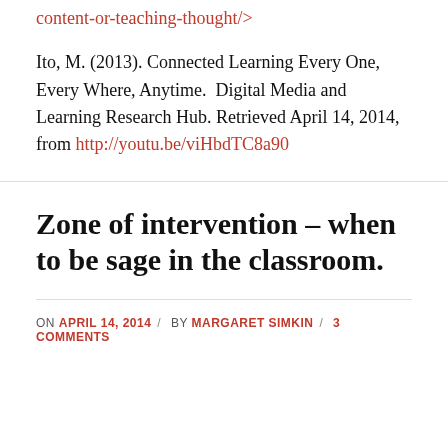content-or-teaching-thought/&gt;
Ito, M. (2013). Connected Learning Every One, Every Where, Anytime.  Digital Media and Learning Research Hub. Retrieved April 14, 2014, from http://youtu.be/viHbdTC8a90
Zone of intervention – when to be sage in the classroom.
ON APRIL 14, 2014 / BY MARGARET SIMKIN / 3 COMMENTS